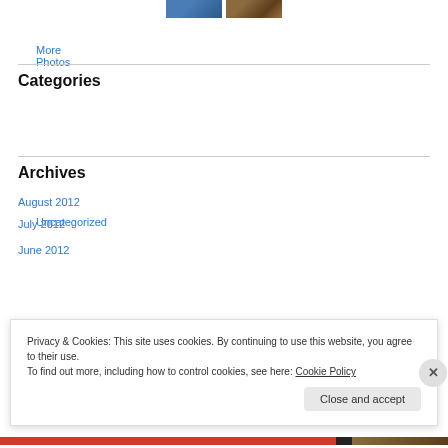[Figure (photo): Two thumbnail photos at top: one with blue tones (person), one with brown/wood tones]
More Photos
Categories
Uncategorized
Archives
August 2012
July 2012
June 2012
Privacy & Cookies: This site uses cookies. By continuing to use this website, you agree to their use.
To find out more, including how to control cookies, see here: Cookie Policy